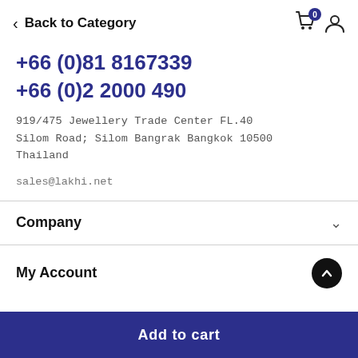< Back to Category
+66 (0)81 8167339
+66 (0)2 2000 490
919/475 Jewellery Trade Center FL.40
Silom Road; Silom Bangrak Bangkok 10500
Thailand
sales@lakhi.net
Company
My Account
Add to cart